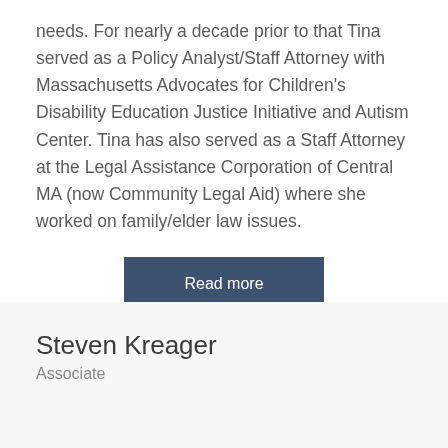needs. For nearly a decade prior to that Tina served as a Policy Analyst/Staff Attorney with Massachusetts Advocates for Children's Disability Education Justice Initiative and Autism Center. Tina has also served as a Staff Attorney at the Legal Assistance Corporation of Central MA (now Community Legal Aid) where she worked on family/elder law issues.
Read more
Steven Kreager
Associate